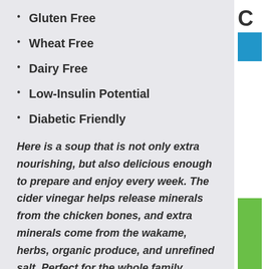Gluten Free
Wheat Free
Dairy Free
Low-Insulin Potential
Diabetic Friendly
Here is a soup that is not only extra nourishing, but also delicious enough to prepare and enjoy every week. The cider vinegar helps release minerals from the chicken bones, and extra minerals come from the wakame, herbs, organic produce, and unrefined salt. Perfect for the whole family.